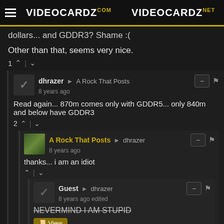VIDEOCARDZ.com VIDEOCARDZ.net
dollars... and GDDR3? Shame :(
Other than that, seems very nice.
1 ^ | v
dhrazer → A Rock That Posts
8 years ago
Read again... 870m comes only with GDDR5... only 840m and below have GDDR3
2 ^ | v
A Rock That Posts → dhrazer
8 years ago
thanks... i am an idiot
^ | v
Guest → dhrazer
8 years ago edited
NEVERMIND I AM STUPID